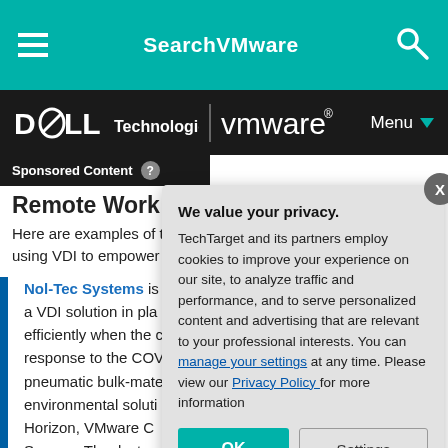SearchVMware
[Figure (logo): Dell Technologies | VMware logo with Menu button on black bar]
Sponsored Content
Remote Work
Here are examples of three organizations that are successfully using VDI to empower
Nol-Tec Systems is a VDI solution in place efficiently when the c response to the COV pneumatic bulk-mate environmental soluti Horizon, VMware C Servers. Thanks to remote work while support for all cust
[Figure (screenshot): Privacy consent modal overlay: 'We value your privacy. TechTarget and its partners employ cookies to improve your experience on our site, to analyze traffic and performance, and to serve personalized content and advertising that are relevant to your professional interests. You can manage your settings at any time. Please view our Privacy Policy for more information' with OK and Settings buttons]